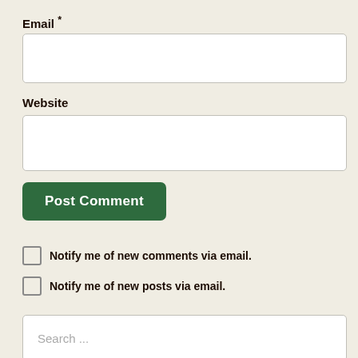Email *
[Figure (other): Empty text input field for Email]
Website
[Figure (other): Empty text input field for Website]
Post Comment
Notify me of new comments via email.
Notify me of new posts via email.
[Figure (other): Search input box with placeholder text 'Search ...']